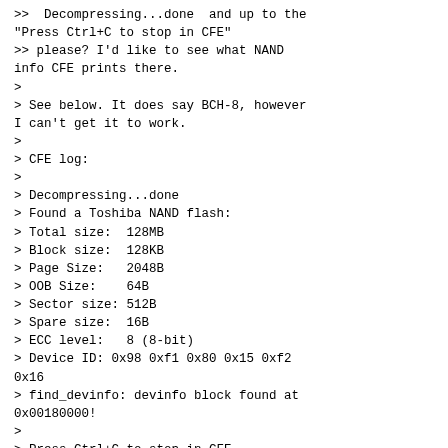>>  Decompressing...done  and up to the
"Press Ctrl+C to stop in CFE"
>> please? I'd like to see what NAND
info CFE prints there.
>
> See below. It does say BCH-8, however
I can't get it to work.
>
> CFE log:
>
> Decompressing...done
> Found a Toshiba NAND flash:
> Total size:  128MB
> Block size:  128KB
> Page Size:   2048B
> OOB Size:    64B
> Sector size: 512B
> Spare size:  16B
> ECC level:   8 (8-bit)
> Device ID: 0x98 0xf1 0x80 0x15 0xf2
0x16
> find_devinfo: devinfo block found at
0x00180000!
>
> Press Ctrl+C to stop in CFE

What kind of error are you getting in
Linux with BCH-8?
--
--
Florian